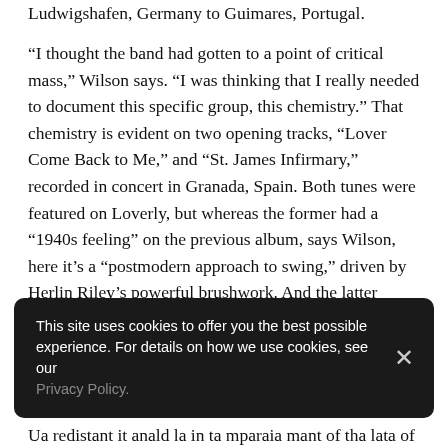Ludwigshafen, Germany to Guimares, Portugal.
“I thought the band had gotten to a point of critical mass,” Wilson says. “I was thinking that I really needed to document this specific group, this chemistry.” That chemistry is evident on two opening tracks, “Lover Come Back to Me,” and “St. James Infirmary,” recorded in concert in Granada, Spain. Both tunes were featured on Loverly, but whereas the former had a “1940s feeling” on the previous album, says Wilson, here it’s a “postmodern approach to swing,” driven by Herlin Riley’s powerful brushwork. And the latter deepens its up-tempo groove from Loverly, ending in entirely newfound musical territory. “There’s a natural evolution, once a song gets out into the air,” says Wilson, “something happens to it.”
This site uses cookies to offer you the best possible experience. For details on how we use cookies, see our Privacy Policy.
Ua redistant it anald le in temperain mont of the late of th